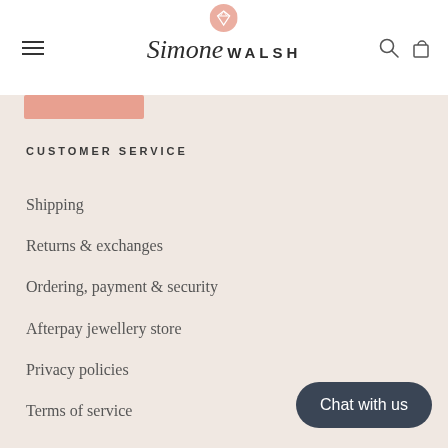Simone Walsh
CUSTOMER SERVICE
Shipping
Returns & exchanges
Ordering, payment & security
Afterpay jewellery store
Privacy policies
Terms of service